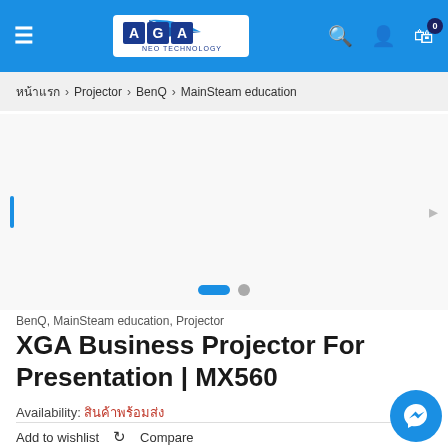AGA Neo Technology — navigation header with hamburger menu, logo, search, account, and cart (0 items)
หน้าแรก > Projector > BenQ > MainSteam education
[Figure (photo): Product image area for BenQ MX560 projector with left blue indicator bar, right arrow, and two slide dots (one active blue, one gray)]
BenQ, MainSteam education, Projector
XGA Business Projector For Presentation | MX560
Availability: สินค้าพร้อมส่ง
Add to wishlist  Compare
-4000 ANSI Lumen High brightness and 20,000:1 High Contrast